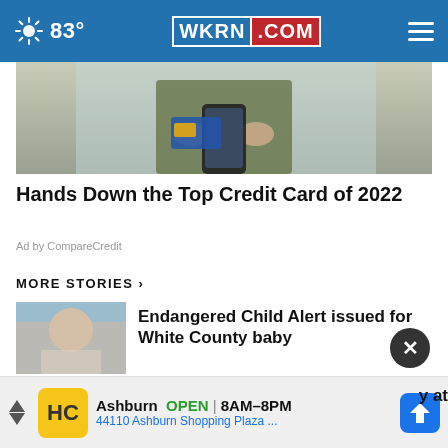83° | WKRN.COM
[Figure (photo): Person holding a smartphone and credit card, ad image for CompareCredit]
Hands Down the Top Credit Card of 2022
Ad by CompareCredit
MORE STORIES ›
Endangered Child Alert issued for White County baby
KY nonprofit brings bus of essentials to Nashville
y at
[Figure (screenshot): Bottom advertisement banner: Ashburn OPEN 8AM-8PM, 44110 Ashburn Shopping Plaza..., HC logo, navigation arrow icon]
Ashburn  OPEN | 8AM–8PM
44110 Ashburn Shopping Plaza ...